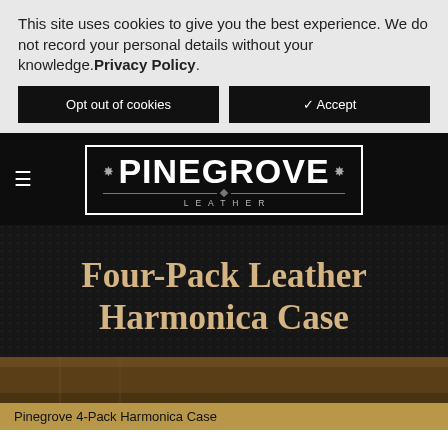This site uses cookies to give you the best experience. We do not record your personal details without your knowledge. Privacy Policy.
Opt out of cookies
✓ Accept
[Figure (logo): Pinegrove Leather logo — decorative bordered box with large bold text PINEGROVE on top and LEATHER below in spaced capitals, with ornamental fleur-de-lis/asterisk decorations on sides]
Four-Pack Leather Harmonica Case
Pinegrove 4-Pack Harmonica Case